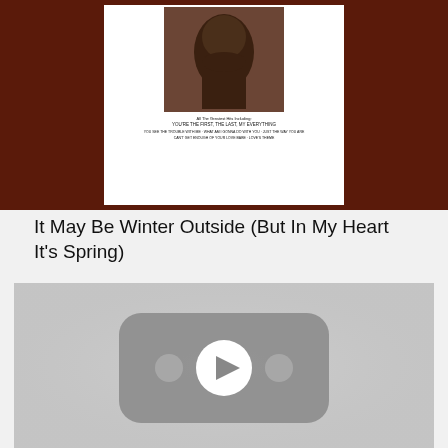[Figure (photo): Album cover thumbnail showing a person against a dark brown/maroon background, with small text listing greatest hits song titles including 'You're The First, The Last, My Everything', 'You See The Trouble With Me', 'What Am I Gonna Do With You', 'Just The Way You Are', 'Can't Get Enough Of Your Love Babe', 'Love's Theme']
It May Be Winter Outside (But In My Heart It's Spring)
[Figure (screenshot): YouTube video player thumbnail in grayscale, showing the YouTube logo/play button icon (rounded rectangle with a play triangle) centered on a light gray background]